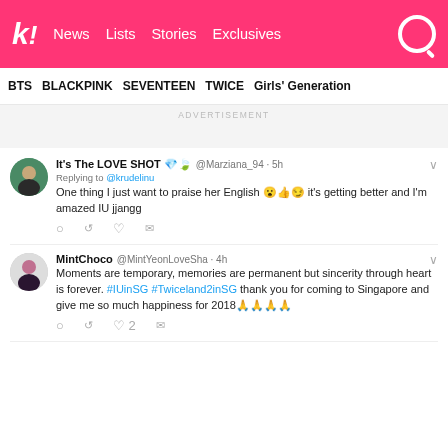k! News Lists Stories Exclusives
BTS  BLACKPINK  SEVENTEEN  TWICE  Girls' Generation
ADVERTISEMENT
It's The LOVE SHOT 💎🍃 @Marziana_94 · 5h
Replying to @krudelinu
One thing I just want to praise her English 😮👍😏 it's getting better and I'm amazed IU jjangg
MintChoco @MintYeonLoveSha · 4h
Moments are temporary, memories are permanent but sincerity through heart is forever. #IUinSG #Twiceland2inSG thank you for coming to Singapore and give me so much happiness for 2018🙏🙏🙏🙏